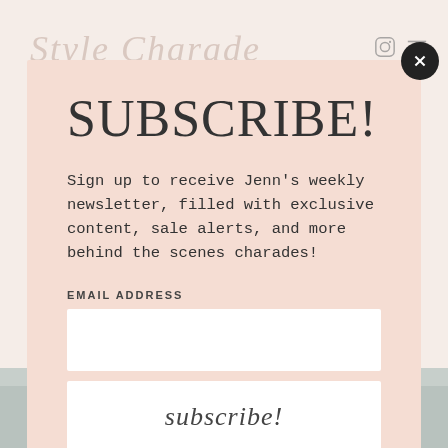Style Charade (script logo)
SUBSCRIBE!
Sign up to receive Jenn's weekly newsletter, filled with exclusive content, sale alerts, and more behind the scenes charades!
EMAIL ADDRESS
[Figure (screenshot): Email address input field (white rectangle)]
[Figure (screenshot): Subscribe button with italic 'subscribe!' text]
[Figure (photo): Bottom portion of page showing a bicycle in muted gray tones]